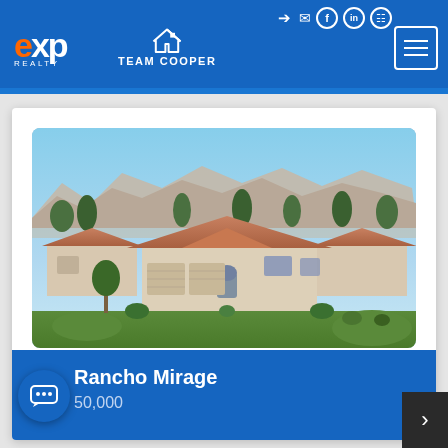eXp Realty - Team Cooper
[Figure (photo): Aerial/elevated photo of a single-story residential home with terracotta roof in Rancho Mirage, California, with mountain backdrop and palm trees]
Rancho Mirage
50,000